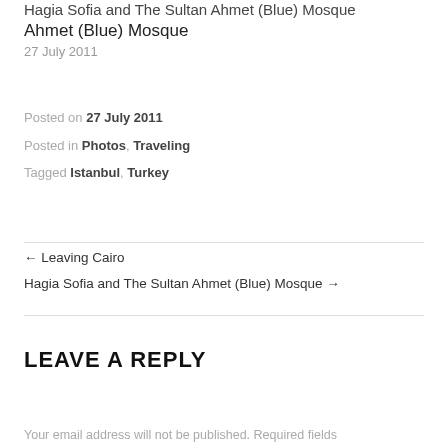Hagia Sofia and The Sultan Ahmet (Blue) Mosque
Ahmet (Blue) Mosque
27 July 2011
Posted on 27 July 2011
Posted in Photos, Traveling
Tagged Istanbul, Turkey
← Leaving Cairo
Hagia Sofia and The Sultan Ahmet (Blue) Mosque →
LEAVE A REPLY
Your email address will not be published. Required fields